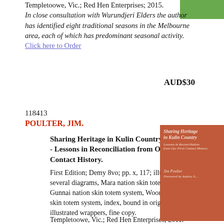[Figure (illustration): Green color block in upper right corner, partial book cover]
Templetoowe, Vic.; Red Hen Enterprises; 2015.
In close consultation with Wurundjeri Elders the author has identified eight traditional seasons in the Melbourne area, each of which has predominant seasonal activity. Click here to Order
AUD$30
118413
POULTER, JIM.
Sharing Heritage in Kulin Country: - Lessons in Reconciliation from Our First Contact History.
First Edition; Demy 8vo; pp. x, 117; illustrated with several diagrams, Mara nation skin totem system, Gunnai nation skin totem system, Woortongi nation skin totem system, index, bound in original stiff illustrated wrappers, fine copy.
Templetoowe, Vic.; Red Hen Enterprises; 2011.
[Figure (illustration): Book cover: orange/terracotta background with 'Sharing Heritage in Kulin Country' title in italic text, subtitle, and author Jim Poulter, Foreword by Audrey S...]